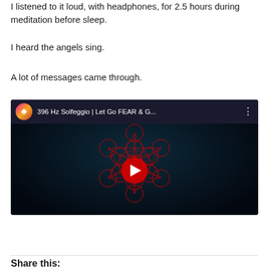I listened to it loud, with headphones, for 2.5 hours during meditation before sleep.
I heard the angels sing.
A lot of messages came through.
[Figure (screenshot): YouTube video embed showing '396 Hz Solfeggio | Let Go FEAR & G...' with a Metatron's Cube sacred geometry design in red on dark background, with a red play button in the center. Channel icon is a lotus flower on gradient background.]
Share this: